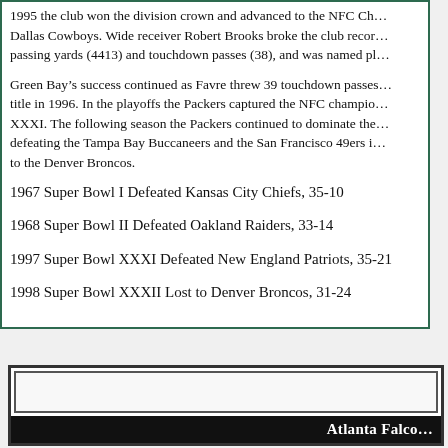1995 the club won the division crown and advanced to the NFC Cha... Dallas Cowboys. Wide receiver Robert Brooks broke the club recor... passing yards (4413) and touchdown passes (38), and was named pl...
Green Bay's success continued as Favre threw 39 touchdown passes... title in 1996. In the playoffs the Packers captured the NFC champio... XXXI. The following season the Packers continued to dominate the... defeating the Tampa Bay Buccaneers and the San Francisco 49ers i... to the Denver Broncos.
1967 Super Bowl I Defeated Kansas City Chiefs, 35-10
1968 Super Bowl II Defeated Oakland Raiders, 33-14
1997 Super Bowl XXXI Defeated New England Patriots, 35-21
1998 Super Bowl XXXII Lost to Denver Broncos, 31-24
Atlanta Falco...